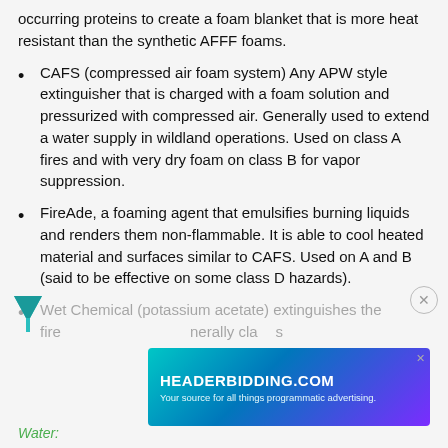occurring proteins to create a foam blanket that is more heat resistant than the synthetic AFFF foams.
CAFS (compressed air foam system) Any APW style extinguisher that is charged with a foam solution and pressurized with compressed air. Generally used to extend a water supply in wildland operations. Used on class A fires and with very dry foam on class B for vapor suppression.
FireAde, a foaming agent that emulsifies burning liquids and renders them non-flammable. It is able to cool heated material and surfaces similar to CAFS. Used on A and B (said to be effective on some class D hazards).
Wet Chemical (potassium acetate) extinguishes the fire... Generally class...
Water: